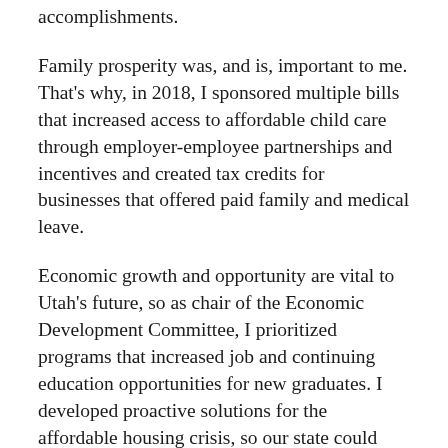accomplishments.
Family prosperity was, and is, important to me. That's why, in 2018, I sponsored multiple bills that increased access to affordable child care through employer-employee partnerships and incentives and created tax credits for businesses that offered paid family and medical leave.
Economic growth and opportunity are vital to Utah's future, so as chair of the Economic Development Committee, I prioritized programs that increased job and continuing education opportunities for new graduates. I developed proactive solutions for the affordable housing crisis, so our state could continue to attract new businesses and jobs for Utahns to continue living and working in the communities they love.